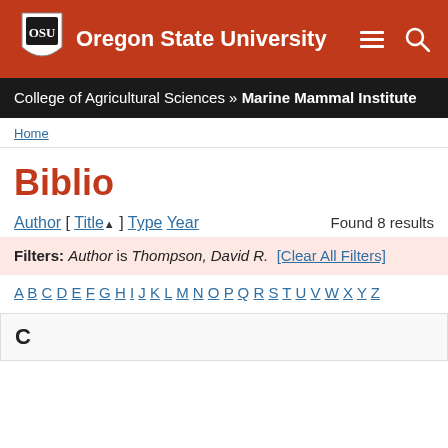[Figure (logo): Oregon State University header with OSU shield logo on red/orange background, menu and search icons]
College of Agricultural Sciences » Marine Mammal Institute
Home
Biblio
Author [ Title ] Type Year   Found 8 results
Filters: Author is Thompson, David R.  [Clear All Filters]
A B C D E F G H I J K L M N O P Q R S T U V W X Y Z
C